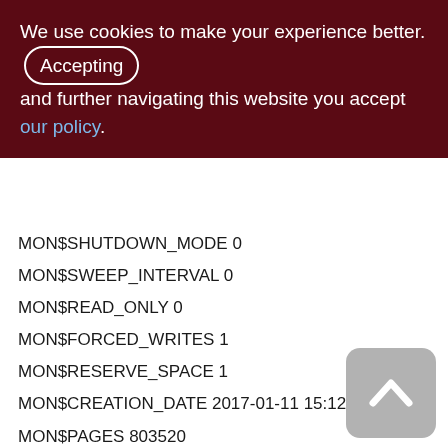We use cookies to make your experience better. By accepting and further navigating this website you accept our policy.
MON$SHUTDOWN_MODE 0
MON$SWEEP_INTERVAL 0
MON$READ_ONLY 0
MON$FORCED_WRITES 1
MON$RESERVE_SPACE 1
MON$CREATION_DATE 2017-01-11 15:12:20.4040
MON$PAGES 803520
MON$STAT_ID 1
MON$BACKUP_STATE 0
MON$CRYPT_PAGE 0
MON$OWNER SYSDBA
MON$SEC_DATABASE Default
ISOL Version: WI-V3.0.4.32939 Firebird 3.0
[Figure (other): Scroll to top button with upward chevron arrow icon]